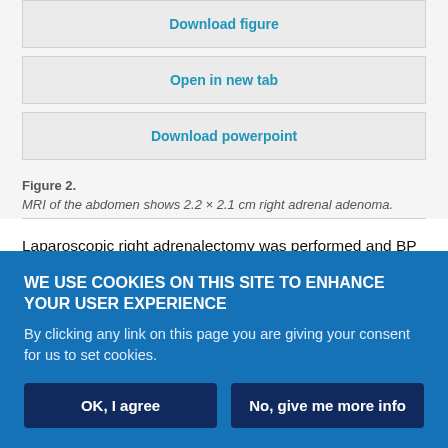Download figure
Open in new tab
Download powerpoint
Figure 2.
MRI of the abdomen shows 2.2 × 2.1 cm right adrenal adenoma.
Laparoscopic right adrenalectomy was performed and BP returned to normal range shortly after surgery, without the need for antihypertensive medication. The patient was discharged...
WE USE COOKIES ON THIS SITE TO ENHANCE YOUR USER EXPERIENCE
By clicking any link on this page you are giving your consent for us to set cookies.
OK, I agree | No, give me more info